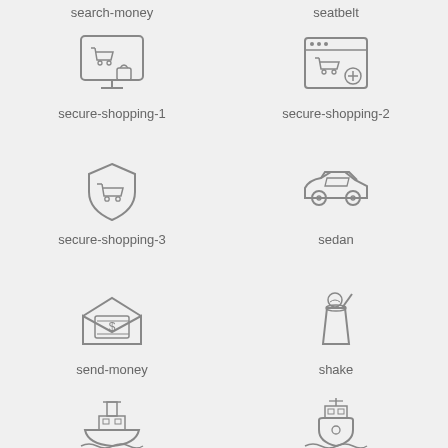search-money
seatbelt
[Figure (illustration): Icon of a computer monitor with a shopping cart and a small bag/box, outline style]
secure-shopping-1
[Figure (illustration): Icon of a browser window with a shopping cart and a shield/plus badge, outline style]
secure-shopping-2
[Figure (illustration): Icon of a shield with a shopping cart inside, outline style]
secure-shopping-3
[Figure (illustration): Icon of a sedan car, simple outline style]
sedan
[Figure (illustration): Icon of an envelope with a dollar bill/money inside, outline style]
send-money
[Figure (illustration): Icon of a cup with a straw and ice cream/shake, outline style]
shake
[Figure (illustration): Icon of a cruise ship / ferry boat with waves, outline style]
[Figure (illustration): Icon of a cruise ship / ferry boat front view with waves, outline style]